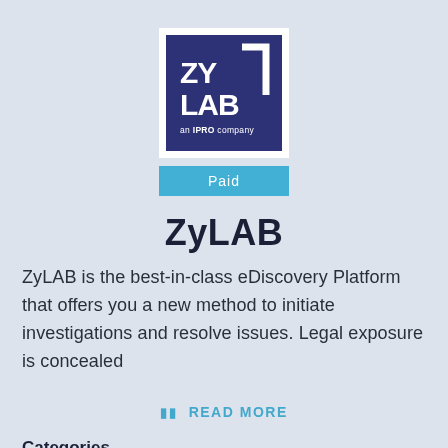[Figure (logo): ZyLAB logo — dark navy blue square with white ZY LAB text and bracket graphic, subtitle 'an IPRO company']
Paid
ZyLAB
ZyLAB is the best-in-class eDiscovery Platform that offers you a new method to initiate investigations and resolve issues. Legal exposure is concealed
II  READ MORE
Categories